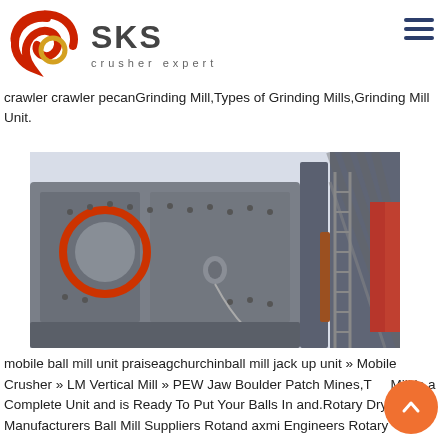[Figure (logo): SKS Crusher Expert logo — red stylized circular brushstroke icon with golden ring, bold dark grey SKS text, subtitle 'crusher expert' in spaced grey letters]
crawler crawler pecanGrinding Mill,Types of Grinding Mills,Grinding Mill Unit.
[Figure (photo): Close-up photograph of a large grey industrial crushing/milling machine with a red-orange circular flange, metal framework, belts, pulleys, and conveyor structure against a pale sky background.]
mobile ball mill unit praiseagchurchinball mill jack up unit » Mobile Crusher » LM Vertical Mill » PEW Jaw Boulder Patch Mines,The Mill is a Complete Unit and is Ready To Put Your Balls In and.Rotary Dryer Manufacturers Ball Mill Suppliers Rotand axmi Engineers Rotary